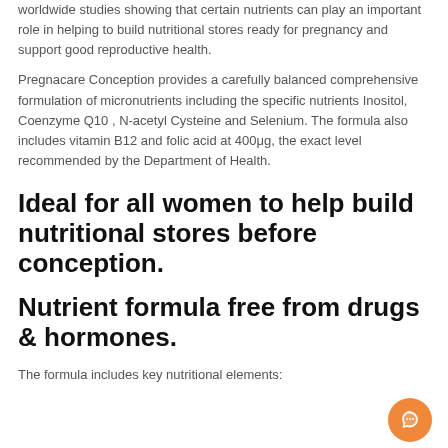worldwide studies showing that certain nutrients can play an important role in helping to build nutritional stores ready for pregnancy and support good reproductive health.
Pregnacare Conception provides a carefully balanced comprehensive formulation of micronutrients including the specific nutrients Inositol, Coenzyme Q10 , N-acetyl Cysteine and Selenium. The formula also includes vitamin B12 and folic acid at 400μg, the exact level recommended by the Department of Health.
Ideal for all women to help build nutritional stores before conception.
Nutrient formula free from drugs & hormones.
The formula includes key nutritional elements: